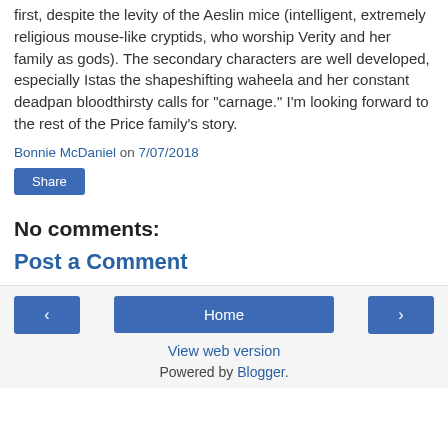first, despite the levity of the Aeslin mice (intelligent, extremely religious mouse-like cryptids, who worship Verity and her family as gods). The secondary characters are well developed, especially Istas the shapeshifting waheela and her constant deadpan bloodthirsty calls for "carnage." I'm looking forward to the rest of the Price family's story.
Bonnie McDaniel on 7/07/2018
Share
No comments:
Post a Comment
Home | View web version | Powered by Blogger.